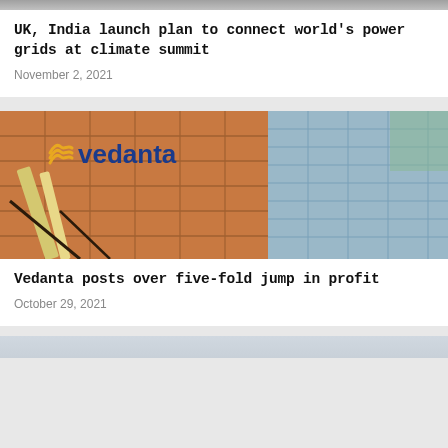[Figure (photo): Partial image at top of page, mostly cut off, appears to be a building or structure]
UK, India launch plan to connect world's power grids at climate summit
November 2, 2021
[Figure (photo): Vedanta corporate building exterior with large Vedanta logo (blue text with wave icon) on orange/terracotta tiled facade, glass curtain wall on right side, industrial pipes visible on lower left]
Vedanta posts over five-fold jump in profit
October 29, 2021
[Figure (photo): Partial image at bottom of page, light blue/grey color, mostly cut off]